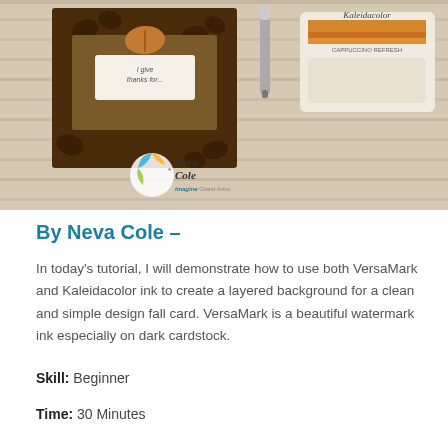[Figure (photo): Photo showing a handmade fall card with leaf designs and brown cardstock with 'I give thanks for...' sentiment, alongside a Kaleidacolor ink pad (Cappuccino Refresh), with a Neva Cole Imagine Guest Artist logo overlay]
By Neva Cole –
In today's tutorial, I will demonstrate how to use both VersaMark and Kaleidacolor ink to create a layered background for a clean and simple design fall card. VersaMark is a beautiful watermark ink especially on dark cardstock.
Skill: Beginner
Time: 30 Minutes